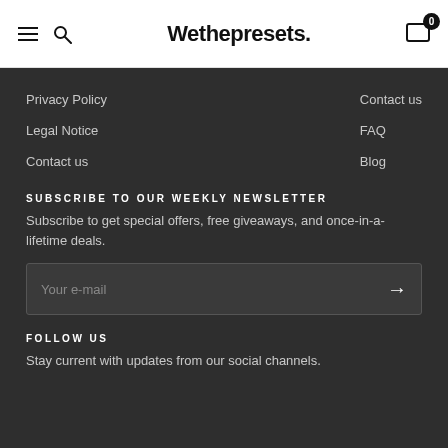Wethepresets.
Privacy Policy
Legal Notice
Contact us
Contact us
FAQ
Blog
SUBSCRIBE TO OUR WEEKLY NEWSLETTER
Subscribe to get special offers, free giveaways, and once-in-a-lifetime deals.
Your e-mail
FOLLOW US
Stay current with updates from our social channels.